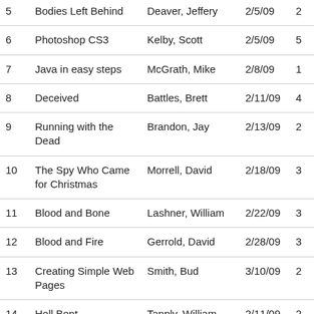| 5 | Bodies Left Behind | Deaver, Jeffery | 2/5/09 | 2 |
| 6 | Photoshop CS3 | Kelby, Scott | 2/5/09 | 5 |
| 7 | Java in easy steps | McGrath, Mike | 2/8/09 | 1 |
| 8 | Deceived | Battles, Brett | 2/11/09 | 4 |
| 9 | Running with the Dead | Brandon, Jay | 2/13/09 | 2 |
| 10 | The Spy Who Came for Christmas | Morrell, David | 2/18/09 | 3 |
| 11 | Blood and Bone | Lashner, William | 2/22/09 | 3 |
| 12 | Blood and Fire | Gerrold, David | 2/28/09 | 3 |
| 13 | Creating Simple Web Pages | Smith, Bud | 3/10/09 | 2 |
| 14 | Hell Bent | Tanply, William | 2/11/09 | 2 |